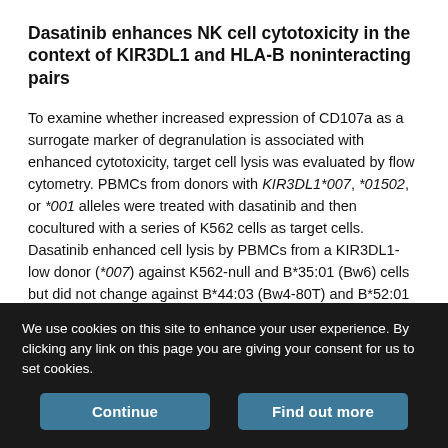Dasatinib enhances NK cell cytotoxicity in the context of KIR3DL1 and HLA-B noninteracting pairs
To examine whether increased expression of CD107a as a surrogate marker of degranulation is associated with enhanced cytotoxicity, target cell lysis was evaluated by flow cytometry. PBMCs from donors with KIR3DL1*007, *01502, or *001 alleles were treated with dasatinib and then cocultured with a series of K562 cells as target cells. Dasatinib enhanced cell lysis by PBMCs from a KIR3DL1-low donor (*007) against K562-null and B*35:01 (Bw6) cells but did not change against B*44:03 (Bw4-80T) and B*52:01 (Bw4-80I) cells (Fig. 4A). In contrast, dasatinib enhanced cell lysis by PBMCs from KIR3DL1-high donors (*01502 and *001)
We use cookies on this site to enhance your user experience. By clicking any link on this page you are giving your consent for us to set cookies.